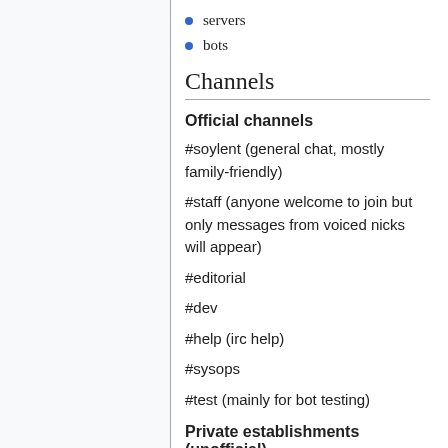servers
bots
Channels
Official channels
#soylent (general chat, mostly family-friendly)
#staff (anyone welcome to join but only messages from voiced nicks will appear)
#editorial
#dev
#help (irc help)
#sysops
#test (mainly for bot testing)
Private establishments (unofficial)